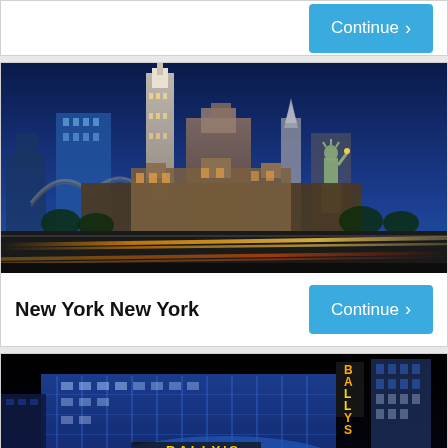[Figure (screenshot): Partial top card with a Continue button visible at the top of the page]
[Figure (photo): Night photo of New York New York hotel and casino in Las Vegas, showing the Statue of Liberty replica and skyline replica buildings with light trails on the road]
New York New York
[Figure (photo): Night photo of Bally's hotel and casino in Las Vegas, showing the illuminated BALLY'S sign in yellow/orange neon and blue-lit building facade]